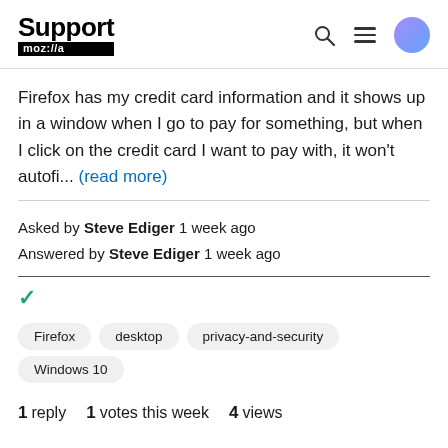Support moz://a
Firefox has my credit card information and it shows up in a window when I go to pay for something, but when I click on the credit card I want to pay with, it won't autofi... (read more)
Asked by Steve Ediger 1 week ago
Answered by Steve Ediger 1 week ago
✓
Firefox
desktop
privacy-and-security
Windows 10
1 reply  1 votes this week  4 views